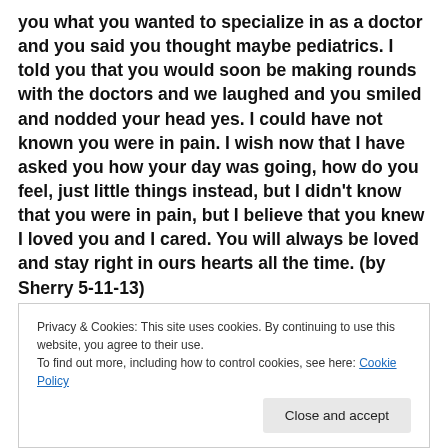you what you wanted to specialize in as a doctor and you said you thought maybe pediatrics. I told you that you would soon be making rounds with the doctors and we laughed and you smiled and nodded your head yes. I could have not known you were in pain. I wish now that I have asked you how your day was going, how do you feel, just little things instead, but I didn't know that you were in pain, but I believe that you knew I loved you and I cared. You will always be loved and stay right in ours hearts all the time. (by Sherry 5-11-13)
Privacy & Cookies: This site uses cookies. By continuing to use this website, you agree to their use.
To find out more, including how to control cookies, see here: Cookie Policy